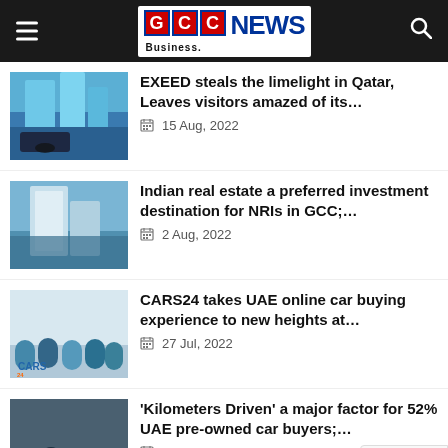GCC Business NEWS
EXEED steals the limelight in Qatar, Leaves visitors amazed of its… — 15 Aug, 2022
Indian real estate a preferred investment destination for NRIs in GCC;… — 2 Aug, 2022
CARS24 takes UAE online car buying experience to new heights at… — 27 Jul, 2022
'Kilometers Driven' a major factor for 52% UAE pre-owned car buyers;… — 22 Jul, 2022